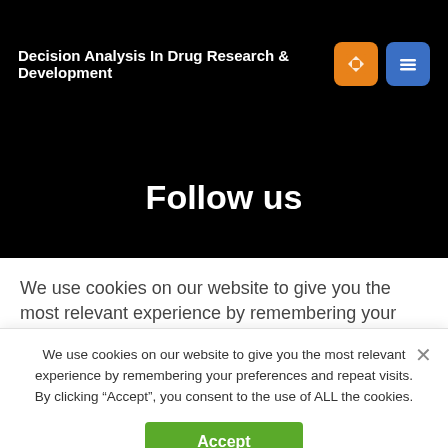Decision Analysis In Drug Research & Development
Follow us
LinkedIn
Facebook
We use cookies on our website to give you the most relevant experience by remembering your preferences and
We use cookies on our website to give you the most relevant experience by remembering your preferences and repeat visits. By clicking “Accept”, you consent to the use of ALL the cookies.